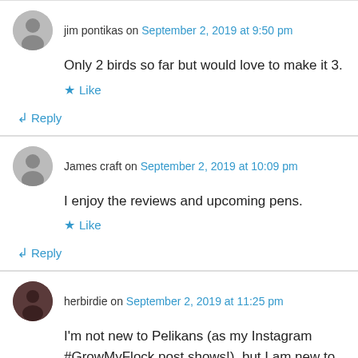jim pontikas on September 2, 2019 at 9:50 pm
Only 2 birds so far but would love to make it 3.
★ Like
↪ Reply
James craft on September 2, 2019 at 10:09 pm
I enjoy the reviews and upcoming pens.
★ Like
↪ Reply
herbirdie on September 2, 2019 at 11:25 pm
I'm not new to Pelikans (as my Instagram #GrowMyFlock post shows!), but I am new to